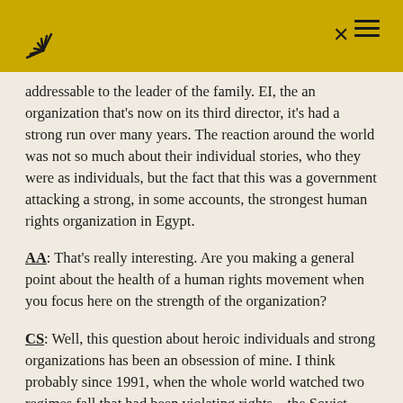[logo] [hamburger menu]
addressable to the leader of the family. EI, the an organization that's now on its third director, it's had a strong run over many years. The reaction around the world was not so much about their individual stories, who they were as individuals, but the fact that this was a government attacking a strong, in some accounts, the strongest human rights organization in Egypt.
AA: That's really interesting. Are you making a general point about the health of a human rights movement when you focus here on the strength of the organization?
CS: Well, this question about heroic individuals and strong organizations has been an obsession of mine. I think probably since 1991, when the whole world watched two regimes fall that had been violating rights – the Soviet Union and the apartheid regime in South Africa. The Soviet union fell essentially to a movement comprised of heroic individuals, dissidents as we called